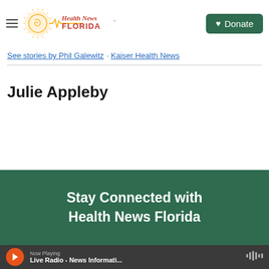Health News Florida - Donate
See stories by Phil Galewitz - Kaiser Health News
Julie Appleby
Stay Connected with Health News Florida
Now Playing - Live Radio - News Informati...